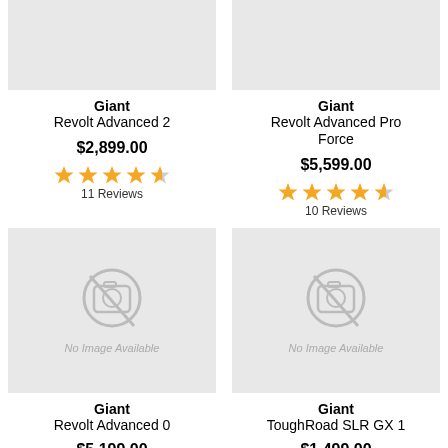[Figure (photo): Top gray image area for Giant Revolt Advanced 2]
Giant
Revolt Advanced 2
$2,899.00
[Figure (other): 4.5 star rating out of 5]
11 Reviews
[Figure (photo): Top gray image area for Giant Revolt Advanced Pro Force]
Giant
Revolt Advanced Pro Force
$5,599.00
[Figure (other): 4.5 star rating out of 5]
10 Reviews
[Figure (photo): No Image Available placeholder for Giant Revolt Advanced 0]
Giant
Revolt Advanced 0
$5,199.00
[Figure (other): 4 star rating out of 5]
4 Reviews
[Figure (photo): No Image Available placeholder for Giant ToughRoad SLR GX 1]
Giant
ToughRoad SLR GX 1
$1,499.00
[Figure (other): 4 star rating out of 5]
4 Reviews